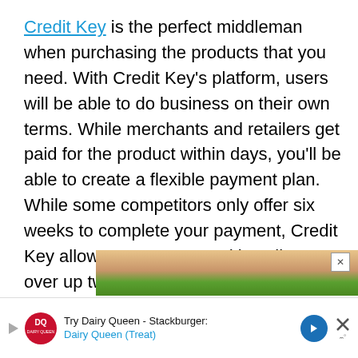Credit Key is the perfect middleman when purchasing the products that you need. With Credit Key's platform, users will be able to do business on their own terms. While merchants and retailers get paid for the product within days, you'll be able to create a flexible payment plan. While some competitors only offer six weeks to complete your payment, Credit Key allows users to extend installments over up twelve months.
[Figure (photo): Partial image of a person holding something, with a green strip visible at the bottom, appearing as an advertisement banner]
[Figure (photo): Dairy Queen advertisement banner at the bottom: 'Try Dairy Queen - Stackburger: Dairy Queen (Treat)' with DQ logo, blue arrow button, and close button]